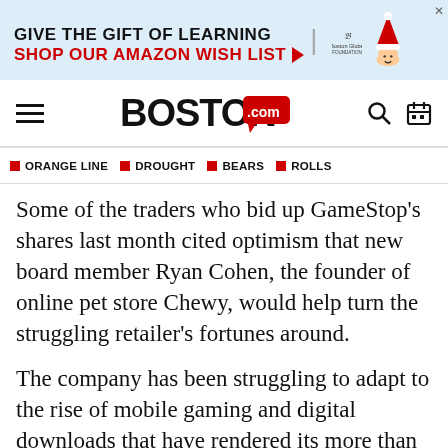[Figure (other): Advertisement banner: 'GIVE THE GIFT OF LEARNING / SHOP OUR AMAZON WISH LIST' with arrow, Boston Globe Foundation logo and santa hat illustration]
BOSTON.com navigation bar with hamburger menu, Boston.com logo, search and calendar icons
ORANGE LINE  DROUGHT  BEARS  ROLLS
Some of the traders who bid up GameStop's shares last month cited optimism that new board member Ryan Cohen, the founder of online pet store Chewy, would help turn the struggling retailer's fortunes around.
The company has been struggling to adapt to the rise of mobile gaming and digital downloads that have rendered its more than 5,000 stores obsolete, even more so during the pandemic.
Some market watchers speculated that GameStop's position in the conversation...